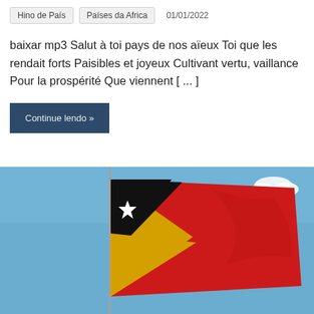Hino de País  Países da Africa  01/01/2022
baixar mp3 Salut à toi pays de nos aïeux Toi que les rendait forts Paisibles et joyeux Cultivant vertu, vaillance Pour la prospérité Que viennent [ ... ]
Continue lendo »
[Figure (photo): Photograph of the East Timor flag waving on a flagpole against a blue sky with a white cloud. The flag features red background with a black triangle and gold triangle at the hoist, with a white star in the black triangle.]